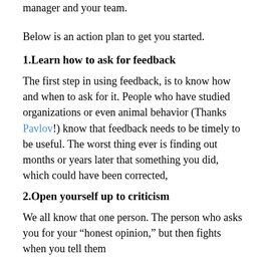manager and your team.
Below is an action plan to get you started.
1.Learn how to ask for feedback
The first step in using feedback, is to know how and when to ask for it. People who have studied organizations or even animal behavior (Thanks Pavlov!) know that feedback needs to be timely to be useful. The worst thing ever is finding out months or years later that something you did, which could have been corrected,
2.Open yourself up to criticism
We all know that one person. The person who asks you for your “honest opinion,” but then fights when you tell them